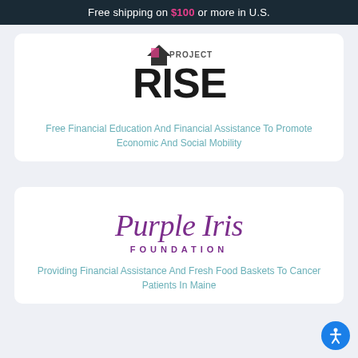Free shipping on $100 or more in U.S.
[Figure (logo): Project RISE logo — bold black text with a pencil/arrow graphic above]
Free Financial Education And Financial Assistance To Promote Economic And Social Mobility
[Figure (logo): Purple Iris Foundation logo — cursive purple 'Purple Iris' script with 'FOUNDATION' in spaced purple capitals below]
Providing Financial Assistance And Fresh Food Baskets To Cancer Patients In Maine